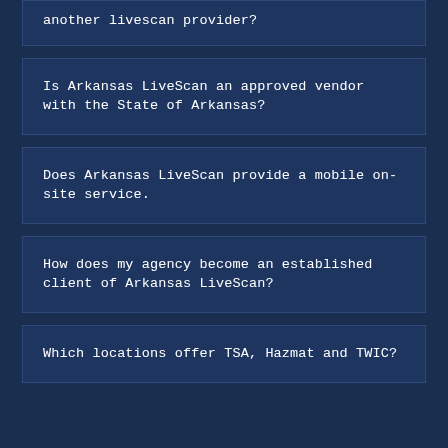another livescan provider?
Is Arkansas LiveScan an approved vendor with the State of Arkansas?
Does Arkansas LiveScan provide a mobile on-site service.
How does my agency become an established client of Arkansas LiveScan?
Which locations offer TSA, Hazmat and TWIC?